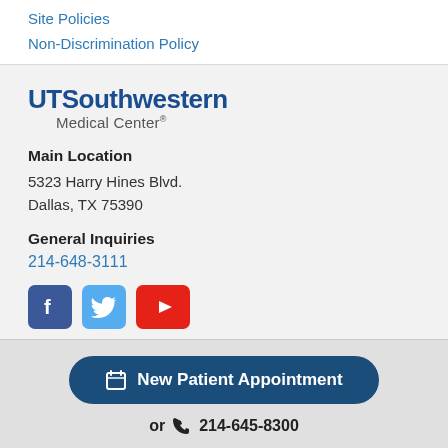Site Policies
Non-Discrimination Policy
[Figure (logo): UT Southwestern Medical Center logo with bold blue 'UT Southwestern' and gray 'Medical Center' text]
Main Location
5323 Harry Hines Blvd.
Dallas, TX 75390
General Inquiries
214-648-3111
[Figure (other): Social media icons: Facebook (blue square with F), Twitter (blue bird), YouTube (red with play button)]
New Patient Appointment
or 214-645-8300